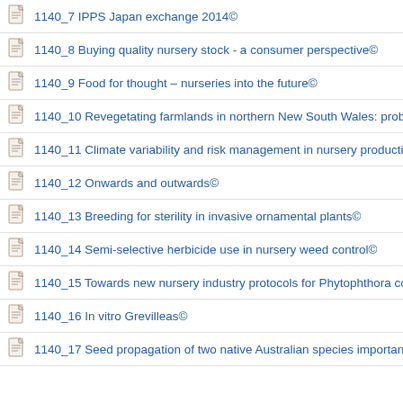1140_7 IPPS Japan exchange 2014©
1140_8 Buying quality nursery stock - a consumer perspective©
1140_9 Food for thought – nurseries into the future©
1140_10 Revegetating farmlands in northern New South Wales: problems
1140_11 Climate variability and risk management in nursery production©
1140_12 Onwards and outwards©
1140_13 Breeding for sterility in invasive ornamental plants©
1140_14 Semi-selective herbicide use in nursery weed control©
1140_15 Towards new nursery industry protocols for Phytophthora contro
1140_16 In vitro Grevilleas©
1140_17 Seed propagation of two native Australian species important for